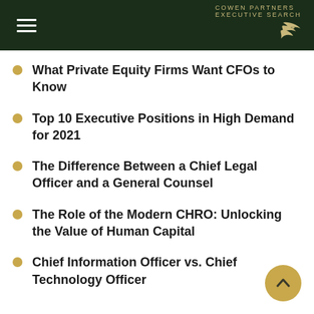Cowen Partners Executive Search
What Private Equity Firms Want CFOs to Know
Top 10 Executive Positions in High Demand for 2021
The Difference Between a Chief Legal Officer and a General Counsel
The Role of the Modern CHRO: Unlocking the Value of Human Capital
Chief Information Officer vs. Chief Technology Officer